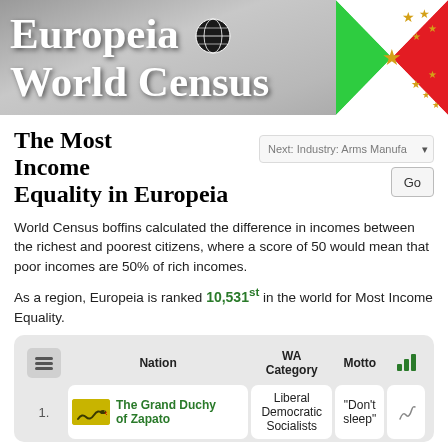Europeia World Census
The Most Income Equality in Europeia
World Census boffins calculated the difference in incomes between the richest and poorest citizens, where a score of 50 would mean that poor incomes are 50% of rich incomes.
As a region, Europeia is ranked 10,531st in the world for Most Income Equality.
|  | Nation | WA Category | Motto |  |
| --- | --- | --- | --- | --- |
| 1. | The Grand Duchy of Zapato | Liberal Democratic Socialists | “Don’t sleep” |  |